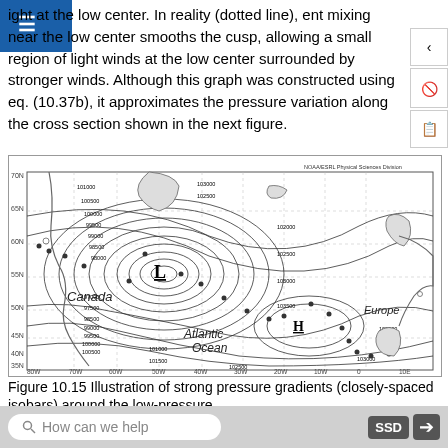ight at the low center. In reality (dotted line), ent mixing near the low center smooths the cusp, allowing a small region of light winds at the low center surrounded by stronger winds. Although this graph was constructed using eq. (10.37b), it approximates the pressure variation along the cross section shown in the next figure.
[Figure (map): Weather map showing pressure isobars over the North Atlantic, with a low pressure system (L) near Canada and a high pressure system (H) over the Atlantic. Isobar values range from about 97000 to 103500 Pa. Labels include Canada, Europe, Atlantic Ocean. NOAA/ESRL Physical Sciences Division credit shown. Latitude markers from 30N to 70N, longitude markers from 80W to 10E.]
Figure 10.15 Illustration of strong pressure gradients (closely-spaced isobars) around the low-pressure